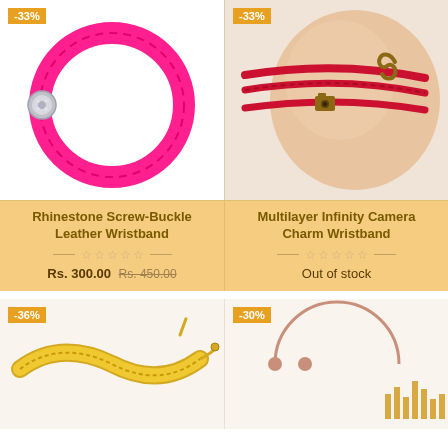[Figure (photo): Pink rhinestone screw-buckle leather wristband bracelet with -33% discount badge]
[Figure (photo): Red multilayer infinity camera charm wristband on wrist with -33% discount badge]
Rhinestone Screw-Buckle Leather Wristband
Rs. 300.00  Rs. 450.00
Multilayer Infinity Camera Charm Wristband
Out of stock
[Figure (photo): Gold mesh twisted heart bracelet with -36% discount badge]
[Figure (photo): Rose gold open bangle with ball ends with -30% discount badge]